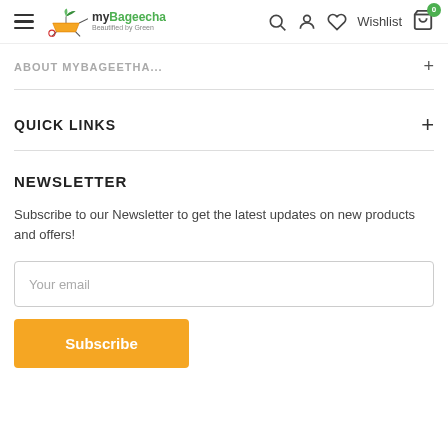myBageecha — Beautified by Green — navbar with hamburger, logo, search, account, wishlist, cart
ABOUT MYBAGEECHA +
QUICK LINKS +
NEWSLETTER
Subscribe to our Newsletter to get the latest updates on new products and offers!
Your email
Subscribe